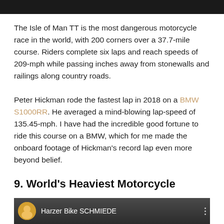[Figure (screenshot): Black navigation bar at top of page]
The Isle of Man TT is the most dangerous motorcycle race in the world, with 200 corners over a 37.7-mile course. Riders complete six laps and reach speeds of 209-mph while passing inches away from stonewalls and railings along country roads.
Peter Hickman rode the fastest lap in 2018 on a BMW S1000RR. He averaged a mind-blowing lap-speed of 135.45-mph. I have had the incredible good fortune to ride this course on a BMW, which for me made the onboard footage of Hickman's record lap even more beyond belief.
9. World's Heaviest Motorcycle
[Figure (screenshot): YouTube video thumbnail showing Harzer Bike SCHMIEDE channel]